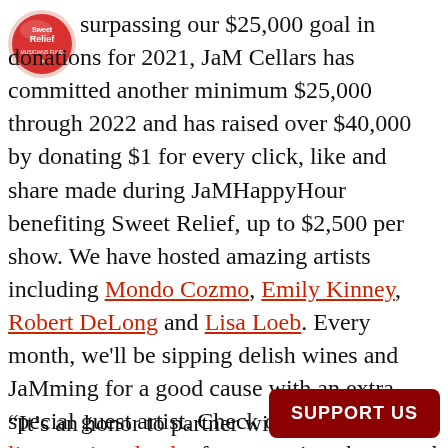[Figure (logo): Sweet Relief Musicians Fund logo — circular red and pink logo with text 'Sweet Relief' in white]
surpassing our $25,000 goal in donations for 2021, JaM Cellars has committed another minimum $25,000 through 2022 and has raised over $40,000 by donating $1 for every click, like and share made during JaMHappyHour benefiting Sweet Relief, up to $2,500 per show. We have hosted amazing artists including Mondo Cozmo, Emily Kinney, Robert DeLong and Lisa Loeb. Every month, we'll be sipping delish wines and JaMming for a good cause with an extra special guest artist. Check out the virtual live music calendar for upcoming shows and join us for cheers & applause!
“It’s an honor to partner with so m